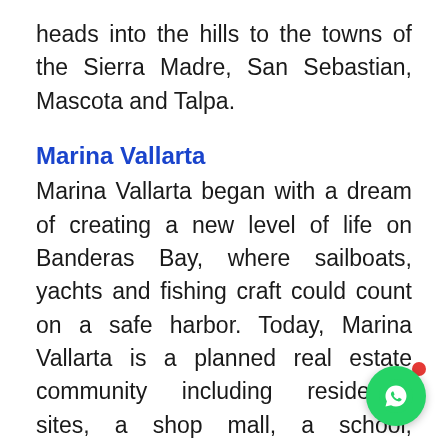heads into the hills to the towns of the Sierra Madre, San Sebastian, Mascota and Talpa.
Marina Vallarta
Marina Vallarta began with a dream of creating a new level of life on Banderas Bay, where sailboats, yachts and fishing craft could count on a safe harbor. Today, Marina Vallarta is a planned real estate community including residential sites, a shop mall, a school, condominiums and th...